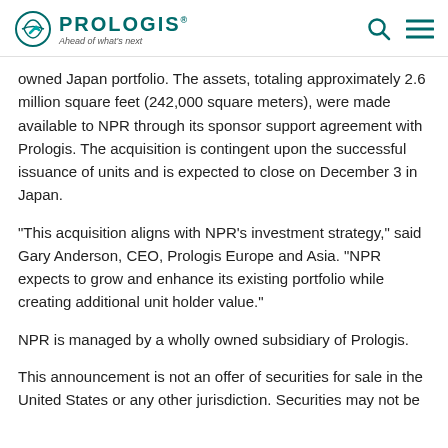PROLOGIS® Ahead of what's next
owned Japan portfolio. The assets, totaling approximately 2.6 million square feet (242,000 square meters), were made available to NPR through its sponsor support agreement with Prologis. The acquisition is contingent upon the successful issuance of units and is expected to close on December 3 in Japan.
"This acquisition aligns with NPR's investment strategy," said Gary Anderson, CEO, Prologis Europe and Asia. "NPR expects to grow and enhance its existing portfolio while creating additional unit holder value."
NPR is managed by a wholly owned subsidiary of Prologis.
This announcement is not an offer of securities for sale in the United States or any other jurisdiction. Securities may not be